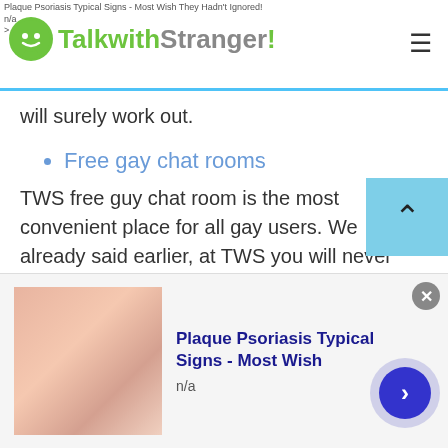Plaque Psoriasis Typical Signs - Most Wish They Hadn't Ignored! n/a > TalkwithStranger!
will surely work out.
Free gay chat rooms
TWS free guy chat room is the most convenient place for all gay users. We already said earlier, at TWS you will never experience any gender restriction. So, if you are a gay user and want to start a gay live chat then it's easy to connect with online friends within few seconds. Gay text and gay cam chat allows users to start an instant chat or random chat with online strangers.
[Figure (other): Advertisement banner: Plaque Psoriasis Typical Signs - Most Wish, n/a, with thumbnail image and navigation arrow button]